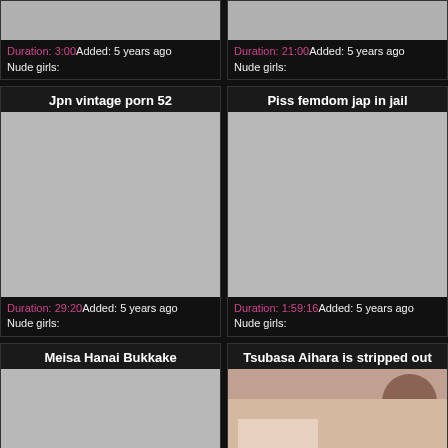[Figure (photo): Partial thumbnail top-left, cropped at top]
Duration: 3:00Added: 5 years ago
Nude girls:
[Figure (photo): Partial thumbnail top-right, cropped at top]
Duration: 21:00Added: 5 years ago
Nude girls:
Jpn vintage porn 52
[Figure (photo): Gray thumbnail placeholder]
Duration: 29:20Added: 5 years ago
Nude girls:
Piss femdom jap in jail
[Figure (photo): Gray thumbnail placeholder]
Duration: 1:59:16Added: 5 years ago
Nude girls:
Meisa Hanai Bukkake
[Figure (photo): Gray thumbnail placeholder bottom-left]
Tsubasa Aihara is stripped out
[Figure (photo): Photo of woman being held, partial view]